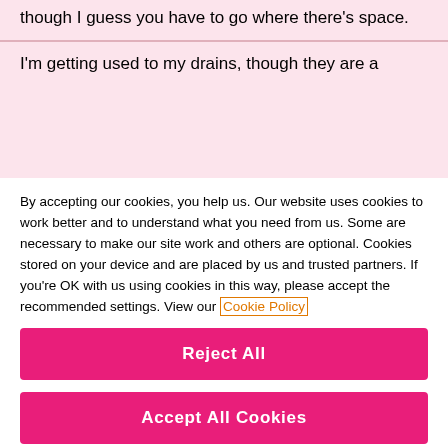though I guess you have to go where there's space.
I'm getting used to my drains, though they are a
By accepting our cookies, you help us. Our website uses cookies to work better and to understand what you need from us. Some are necessary to make our site work and others are optional. Cookies stored on your device and are placed by us and trusted partners. If you're OK with us using cookies in this way, please accept the recommended settings. View our Cookie Policy
Manage My Settings
Reject All
Accept All Cookies